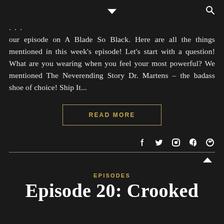navigation icons: chevron down, search
... our episode on A Blade So Black. Here are all the things mentioned in this week's episode! Let's start with a question! What are you wearing when you feel your most powerful? We mentioned The Neverending Story Dr. Martens – the badass shoe of choice! Ship It...
READ MORE
social icons: f, twitter, pinterest, tumblr, reddit
EPISODES
Episode 20: Crooked